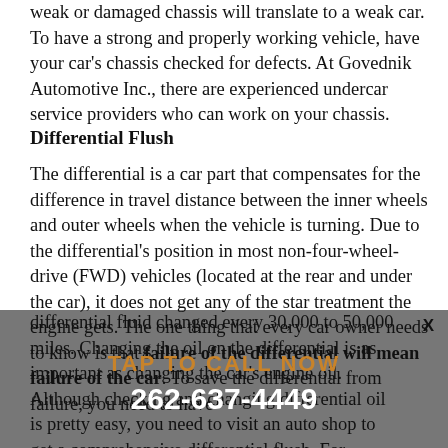weak or damaged chassis will translate to a weak car. To have a strong and properly working vehicle, have your car's chassis checked for defects. At Govednik Automotive Inc., there are experienced undercar service providers who can work on your chassis.
Differential Flush
The differential is a car part that compensates for the difference in travel distance between the inner wheels and outer wheels when the vehicle is turning. Due to the differential's position in most non-four-wheel-drive (FWD) vehicles (located at the rear and under the car), it does not get any of the star treatment the engine gets. The one thing that every car owner needs to know is that failure of the differential will mean failure of the car. To save the differential from failure, you need to have differential fluid changed every 30,000 to 50,000 miles. Changing the oil on the differential is as important as changing the car's engine oil. Although checking and changing differential oil is pretty easy, you need to visit an auto shop to get a comprehensive differential flush. For differential flush services, visit or call Govednik Automotive Inc. in Racine, WI 53405 today.
TAP TO CALL NOW
262-637-4449